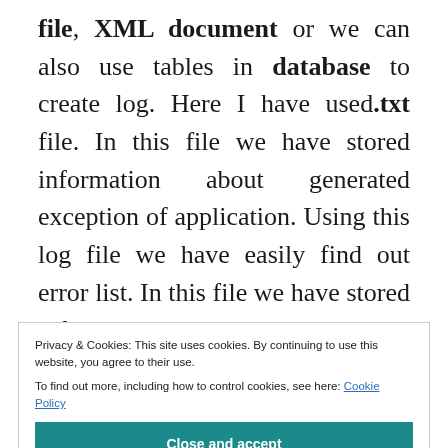file, XML document or we can also use tables in database to create log. Here I have used.txt file. In this file we have stored information about generated exception of application. Using this log file we have easily find out error list. In this file we have stored information according our requirement. For example in log file we have stored file
Privacy & Cookies: This site uses cookies. By continuing to use this website, you agree to their use.
To find out more, including how to control cookies, see here: Cookie Policy
[Close and accept]
using System;